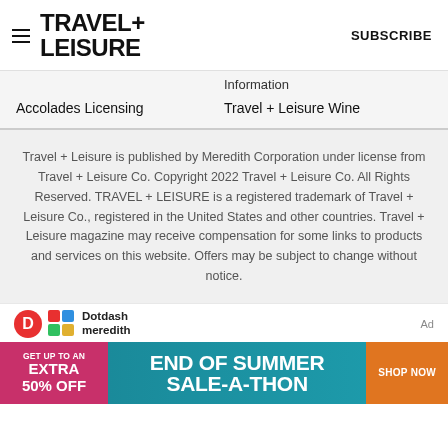TRAVEL+ LEISURE | SUBSCRIBE
Information
Accolades Licensing
Travel + Leisure Wine
Travel + Leisure is published by Meredith Corporation under license from Travel + Leisure Co. Copyright 2022 Travel + Leisure Co. All Rights Reserved. TRAVEL + LEISURE is a registered trademark of Travel + Leisure Co., registered in the United States and other countries. Travel + Leisure magazine may receive compensation for some links to products and services on this website. Offers may be subject to change without notice.
[Figure (logo): Dotdash Meredith logo with colorful grid icon]
[Figure (infographic): Advertisement banner: GET UP TO AN EXTRA 50% OFF - END OF SUMMER SALE-A-THON - SHOP NOW]